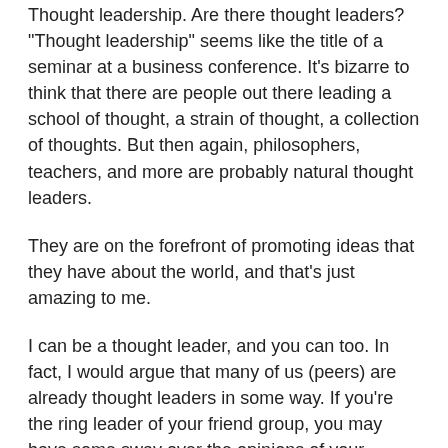Thought leadership. Are there thought leaders? “Thought leadership” seems like the title of a seminar at a business conference. It’s bizarre to think that there are people out there leading a school of thought, a strain of thought, a collection of thoughts. But then again, philosophers, teachers, and more are probably natural thought leaders.
They are on the forefront of promoting ideas that they have about the world, and that’s just amazing to me.
I can be a thought leader, and you can too. In fact, I would argue that many of us (peers) are already thought leaders in some way. If you’re the ring leader of your friend group, you may have some sway over the opinions of your friends. If you’re the president of a club, you may have the final say over a decision that the club makes, dictating the collective stance of a group of people.
Thought leadership is a status attained when you